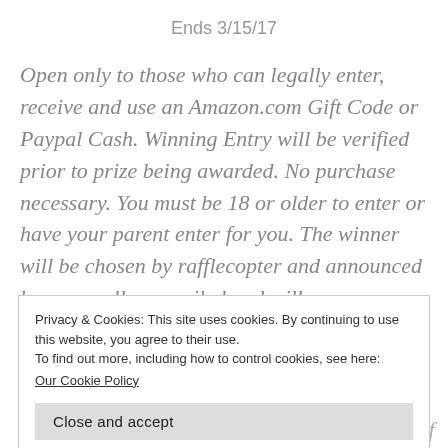Ends 3/15/17
Open only to those who can legally enter, receive and use an Amazon.com Gift Code or Paypal Cash. Winning Entry will be verified prior to prize being awarded. No purchase necessary. You must be 18 or older to enter or have your parent enter for you. The winner will be chosen by rafflecopter and announced here as well as emailed and will
Privacy & Cookies: This site uses cookies. By continuing to use this website, you agree to their use.
To find out more, including how to control cookies, see here:
Our Cookie Policy
Close and accept
eligible entries received determines the odds of